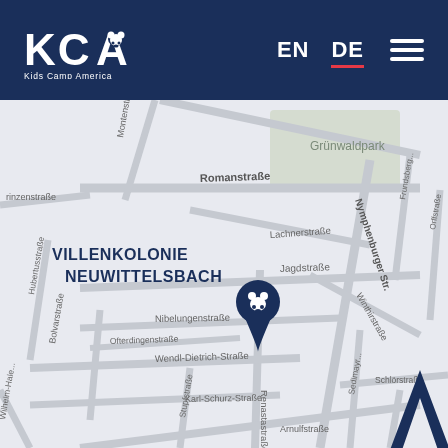[Figure (logo): KCA Kids Camp America logo in white on dark navy blue header]
EN  DE  ☰
[Figure (map): Street map of Munich neighborhood Villenkolonie Neuwittelsbach showing Romanstraße, Nymphenburger Str., Lachnerstraße, Jagdstraße, Nibelungenstraße, Wendl-Dietrich-Straße, Renastastraße, Arnulfstraße, Karl-Schurz-Straße, Schlörstraße, Winthirstraße with a KCA location pin marker on the map.]